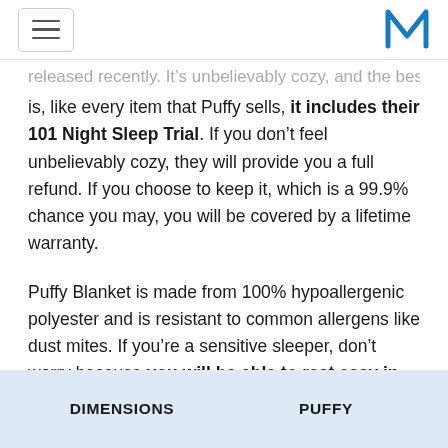navigation bar with hamburger menu and M logo
released recently. It's unbelievably cozy, and the best part is, like every item that Puffy sells, it includes their 101 Night Sleep Trial. If you don't feel unbelievably cozy, they will provide you a full refund. If you choose to keep it, which is a 99.9% chance you may, you will be covered by a lifetime warranty.
Puffy Blanket is made from 100% hypoallergenic polyester and is resistant to common allergens like dust mites. If you're a sensitive sleeper, don't worry because you will be able to rest easy in sniffle-free coziness.
| DIMENSIONS | PUFFY |
| --- | --- |